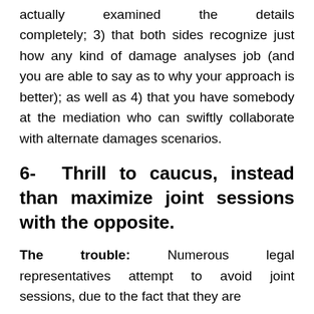actually examined the details completely; 3) that both sides recognize just how any kind of damage analyses job (and you are able to say as to why your approach is better); as well as 4) that you have somebody at the mediation who can swiftly collaborate with alternate damages scenarios.
6- Thrill to caucus, instead than maximize joint sessions with the opposite.
The trouble: Numerous legal representatives attempt to avoid joint sessions, due to the fact that they are